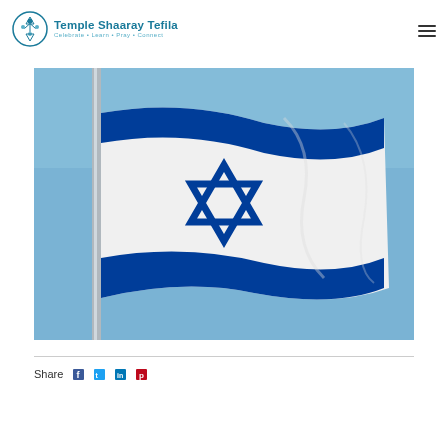Temple Shaaray Tefila — Celebrate • Learn • Pray • Connect
[Figure (photo): Photo of the Israeli flag (blue and white with Star of David) waving in a clear blue sky, attached to a metal flagpole.]
Share